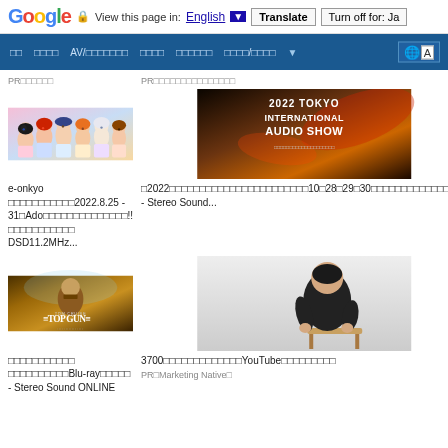Google  View this page in: English [▼]  Translate  Turn off for: Ja
□□  □□□□  AV/□□□□□□□  □□□□  □□□□□□  □□□□/□□□□  ▼
PR□□□□□□
[Figure (photo): Anime characters in colorful uniforms]
e-onkyo □□□□□□□□□□□2022.8.25 - 31□Ado□□□□□□□□□□□□□□!!□□□□□□□□□□□ DSD11.2MHz...
PR□□□□□□□□□□□□□□□
[Figure (photo): 2022 Tokyo International Audio Show promotional banner]
□2022□□□□□□□□□□□□□□□□□□□□□□□10□28□29□30□□□□□□□□□□□□□□□□ - Stereo Sound...
[Figure (photo): Top Gun Maverick movie Blu-ray promotional image with Tom Cruise]
□□□□□□□□□□□ □□□□□□□□□□Blu-ray□□□□□ - Stereo Sound ONLINE
[Figure (photo): Person sitting on chair in dark clothing]
3700□□□□□□□□□□□□□YouTube□□□□□□□□□
PR□Marketing Native□